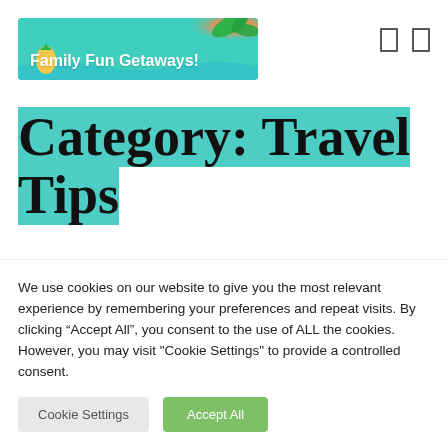[Figure (logo): Family Fun Getaways! banner logo with teal background, tropical/beach design elements and bold white text]
Category: Travel Tips
[Figure (photo): Partial photo strip showing what appears to be a person, cropped at top of frame]
We use cookies on our website to give you the most relevant experience by remembering your preferences and repeat visits. By clicking “Accept All”, you consent to the use of ALL the cookies. However, you may visit "Cookie Settings" to provide a controlled consent.